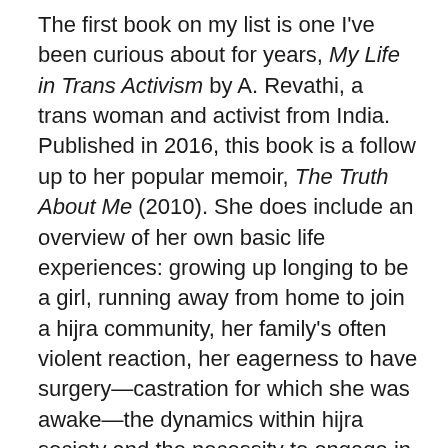The first book on my list is one I've been curious about for years, My Life in Trans Activism by A. Revathi, a trans woman and activist from India. Published in 2016, this book is a follow up to her popular memoir, The Truth About Me (2010). She does include an overview of her own basic life experiences: growing up longing to be a girl, running away from home to join a hijra community, her family's often violent reaction, her eagerness to have surgery—castration for which she was awake—the dynamics within hijra society and the necessity to engage in begging and sex work for lack of other options. The world she describes is one which provides support but is also strictly hierarchical and sometimes cruel. It is an honest account, nothing is idealized, but she expresses